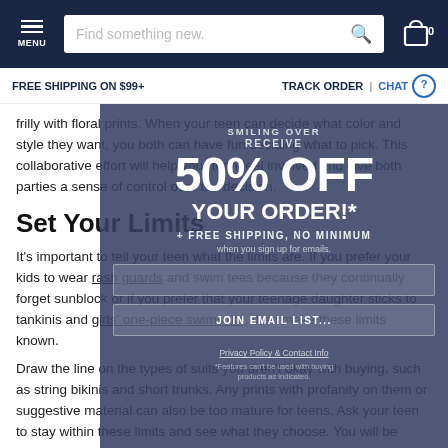MENU | Find something new. | 0
FREE SHIPPING ON $99+ | TRACK ORDER | CHAT
frilly with floral prints. When your teen can decide what color and style they want, you both can have fun deciding what to pick. This collaborative effort will help your teen feel involved and give both parties a sense of control over the decision.
Set Your Limits
It's important to tell your teen what the limits are. If you prefer your kids to wear rash guards and swim tees because they continually forget sunblock or if you prefer that your teenage daughter sticks to tankinis and girls' one-piece swimsuits, then make these limits known.
Draw the line on the types of suits you aren't okay with buying, such as string bikinis and short trunks. Any prints with profanity on them or suggestive material can also be too mature for teens. Ask your teen to stay within these limits and see what they choose. You will be surprised to see how much you both have in common when you find plenty of appropriate options within
[Figure (infographic): Promotional modal overlay: 'SMILING OVER / RECEIVE / 50% OFF / YOUR ORDER!* / + FREE SHIPPING, NO MINIMUM / when you sign up for emails' with email input field, JOIN EMAIL LIST button, Privacy Policy & Contact Info link, and fine print about features not available with buying products as indicated.]